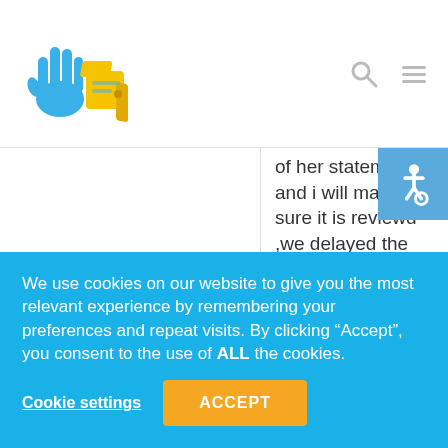[Figure (logo): Colorful hands logo with blue and yellow hand illustrations]
of her statement and i will make sure it is reviewd ,we delayed the Meds as her absence fits were in need of taking care of first so she is now on Epilim which may have a positive effect on her moods too he wants to see how that goes before anything else is given , all there at the meeting
We use cookies on our website to give you the most relevant experience by remembering your preferences and repeat visits. By clicking "Accept", you consent to the use of ALL the cookies.
Cookie settings
ACCEPT